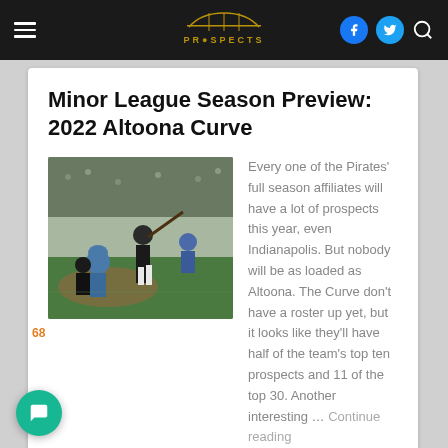Pirates Prospects — navigation bar with hamburger menu, logo, Facebook, Twitter, Search icons
Minor League Season Preview: 2022 Altoona Curve
[Figure (photo): Baseball player batting at home plate with catcher and umpire, stadium in background]
Every one of the Pirates' full season affiliates will have a lot of prospects this year, even Indianapolis. But nobody will be as loaded as Altoona. The Curve don't have a roster up yet, but it looks like they'll have half of the team's top ten prospects and 11 of the top 30. Another interesting … Continue reading
Pirates Prospects
0